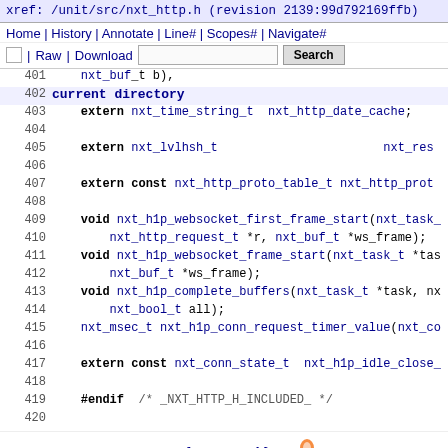xref: /unit/src/nxt_http.h (revision 2139:99d792169ffb)
Home | History | Annotate | Line# | Scopes# | Navigate# | Raw | Download  [Search]
current directory
401   nxt_buf_t b),
402   current directory
403   extern nxt_time_string_t nxt_http_date_cache;
404
405   extern nxt_lvlhsh_t   nxt_res
406
407   extern const nxt_http_proto_table_t nxt_http_prot
408
409   void nxt_h1p_websocket_first_frame_start(nxt_task_
410       nxt_http_request_t *r, nxt_buf_t *ws_frame);
411   void nxt_h1p_websocket_frame_start(nxt_task_t *tas
412       nxt_buf_t *ws_frame);
413   void nxt_h1p_complete_buffers(nxt_task_t *task, nx
414       nxt_bool_t all);
415   nxt_msec_t nxt_h1p_conn_request_timer_value(nxt_co
416
417   extern const nxt_conn_state_t nxt_h1p_idle_close_
418
419   #endif /* _NXT_HTTP_H_INCLUDED_ */
420
served by {OpenGrok} on Java
Last Index update Fri Aug 26 05:55:17 UTC 2022